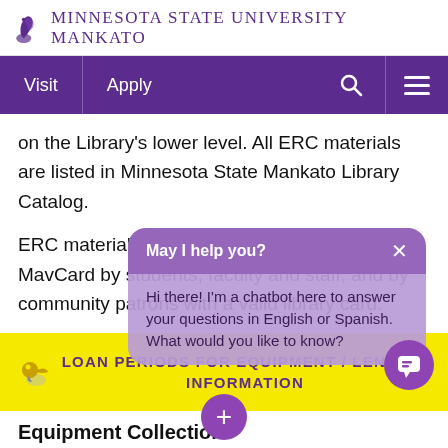Minnesota State University Mankato
[Figure (screenshot): University navigation bar with Visit, Apply, search and menu icons on purple background]
on the Library's lower level. All ERC materials are listed in Minnesota State Mankato Library Catalog.
ERC materials can be checked out with a MavCard by students, faculty and staff, and by community patrons with a valid library card.
LOAN PERIODS FOR EQUIPMENT / LENDING INFORMATION
Equipment Collection
[Figure (screenshot): Chatbot popup overlay with 'May I help you?' header and message 'Hi there! I'm a chatbot here to answer your questions in English or Spanish. What would you like to know?']
Equipment and Database Resources for